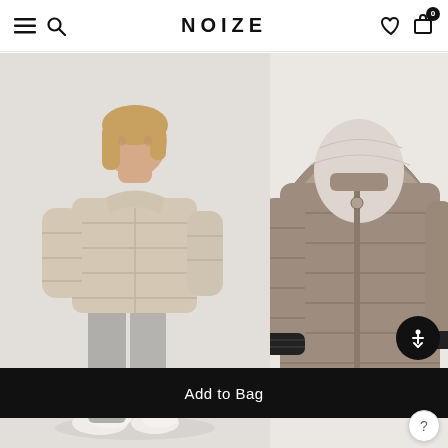NOIZE
[Figure (photo): Young girl wearing a beige/cream quilted puffer jacket with high collar, grey sweatpants, and white fluffy shoes, standing against a light grey background]
[Figure (photo): Close-up of a taupe/mocha quilted puffer jacket with hood, showing the front zipper area and ribbed black cuffs, against a light background]
Add to Bag